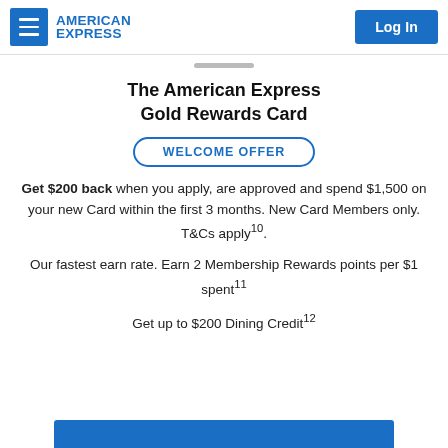AMERICAN EXPRESS  Log In
The American Express Gold Rewards Card
WELCOME OFFER
Get $200 back when you apply, are approved and spend $1,500 on your new Card within the first 3 months. New Card Members only. T&Cs apply10.
Our fastest earn rate. Earn 2 Membership Rewards points per $1 spent11
Get up to $200 Dining Credit12